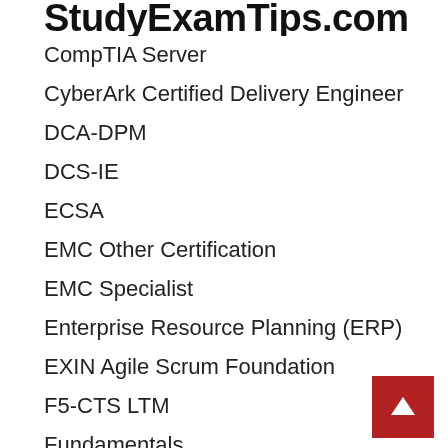StudyExamTips.com
CompTIA Server
CyberArk Certified Delivery Engineer
DCA-DPM
DCS-IE
ECSA
EMC Other Certification
EMC Specialist
Enterprise Resource Planning (ERP)
EXIN Agile Scrum Foundation
F5-CTS LTM
Fundamentals
GAQM certification
Guidance Software Certification